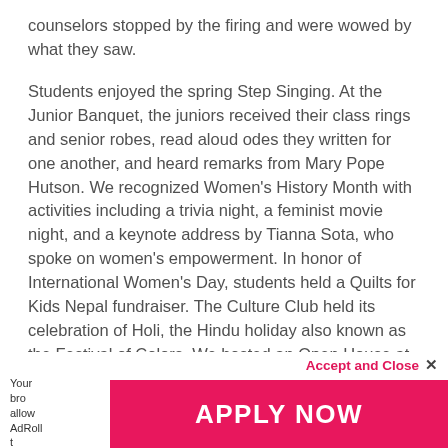counselors stopped by the firing and were wowed by what they saw.
Students enjoyed the spring Step Singing. At the Junior Banquet, the juniors received their class rings and senior robes, read aloud odes they written for one another, and heard remarks from Mary Pope Hutson. We recognized Women's History Month with activities including a trivia night, a feminist movie night, and a keynote address by Tianna Sota, who spoke on women's empowerment. In honor of International Women's Day, students held a Quilts for Kids Nepal fundraiser. The Culture Club held its celebration of Holi, the Hindu holiday also known as the Festival of Colors. We hosted an Open House at Reid Pit and an international flag celebration in Prothro so that everyone could learn more about our international student community and the resources now available for students in
Accept and Close ✕
Your bro… to allow AdRoll t… tracking by clicki…
APPLY NOW